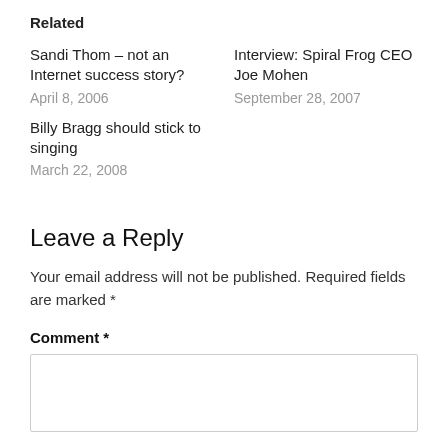Related
Sandi Thom – not an Internet success story?
April 8, 2006
Interview: Spiral Frog CEO Joe Mohen
September 28, 2007
Billy Bragg should stick to singing
March 22, 2008
Leave a Reply
Your email address will not be published. Required fields are marked *
Comment *